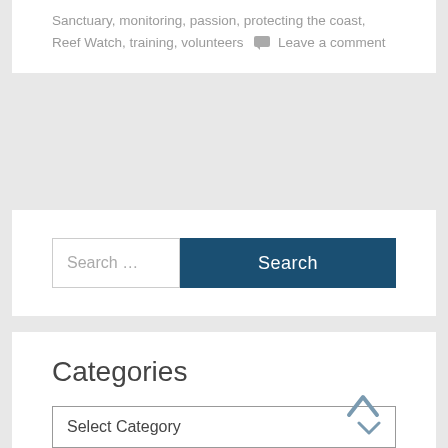Sanctuary, monitoring, passion, protecting the coast, Reef Watch, training, volunteers  💬 Leave a comment
Search ...
Categories
Select Category